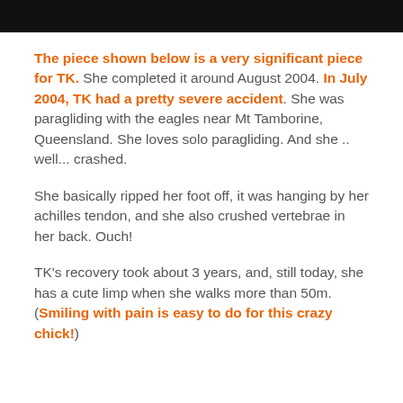The piece shown below is a very significant piece for TK. She completed it around August 2004. In July 2004, TK had a pretty severe accident. She was paragliding with the eagles near Mt Tamborine, Queensland. She loves solo paragliding. And she .. well... crashed.

She basically ripped her foot off, it was hanging by her achilles tendon, and she also crushed vertebrae in her back. Ouch!

TK's recovery took about 3 years, and, still today, she has a cute limp when she walks more than 50m. (Smiling with pain is easy to do for this crazy chick!)